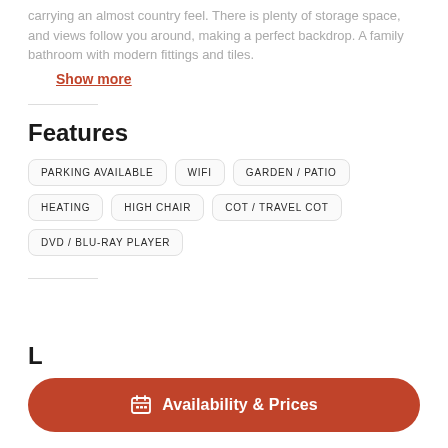carrying an almost country feel. There is plenty of storage space, and views follow you around, making a perfect backdrop. A family bathroom with modern fittings and tiles
Show more
Features
PARKING AVAILABLE
WIFI
GARDEN / PATIO
HEATING
HIGH CHAIR
COT / TRAVEL COT
DVD / BLU-RAY PLAYER
L
Availability & Prices